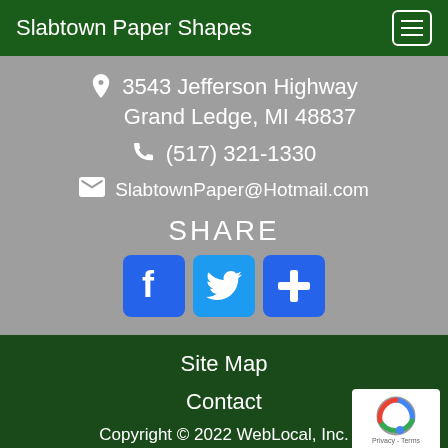Slabtown Paper Shapes
3543 Jefferson Highway Grand Ledge, MI 48837
(517) 321-1330
SlabtownPaper@Hotmail.com
SHARE
[Figure (infographic): Three social share buttons: Facebook (blue with F logo), Twitter (light blue with bird logo), and a plus/more button (blue with + sign)]
Site Map
Contact
Copyright © 2022 WebLocal, Inc.